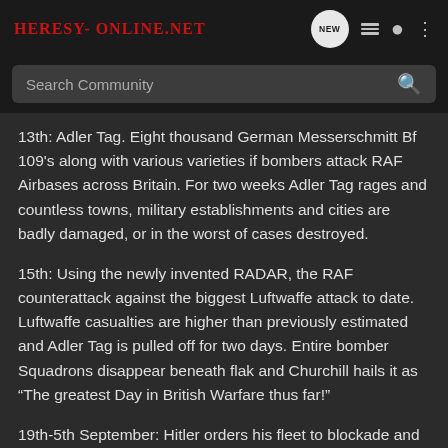Heresy-Online.net
Search Community
13th: Adler Tag. Eight thousand German Messerschmitt Bf 109's along with various varieties if bombers attack RAF Airbases across Britain. For two weeks Adler Tag rages and countless towns, military establishments and cities are badly damaged, or in the worst of cases destroyed.
15th: Using the newly invented RADAR, the RAF counterattack against the biggest Luftwaffe attack to date. Luftwaffe casualties are higher than previously estimated and Adler Tag is pulled off for two days. Entire bomber Squadrons disappear beneath flak and Churchill hails it as “The greatest Day in British Warfare thus far!”
19th-5th September: Hitler orders his fleet to blockade and bombard Britain in Operation Eagle Fury. The Bismarck returns